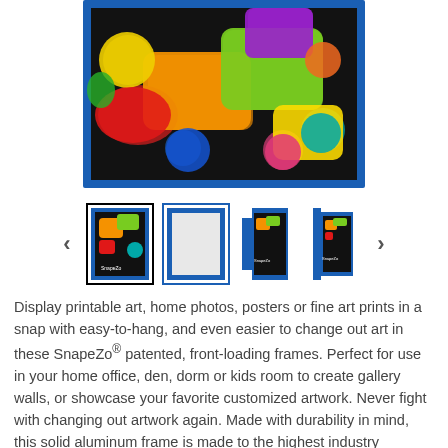[Figure (photo): Colorful paint trays and paint pots viewed from above, displayed inside a blue picture frame]
[Figure (photo): Thumbnail gallery row showing 4 product thumbnails of a blue SnapeZo frame with left and right navigation arrows]
Display printable art, home photos, posters or fine art prints in a snap with easy-to-hang, and even easier to change out art in these SnapeZo® patented, front-loading frames. Perfect for use in your home office, den, dorm or kids room to create gallery walls, or showcase your favorite customized artwork. Never fight with changing out artwork again. Made with durability in mind, this solid aluminum frame is made to the highest industry standards, the best quality available at the lowest price.